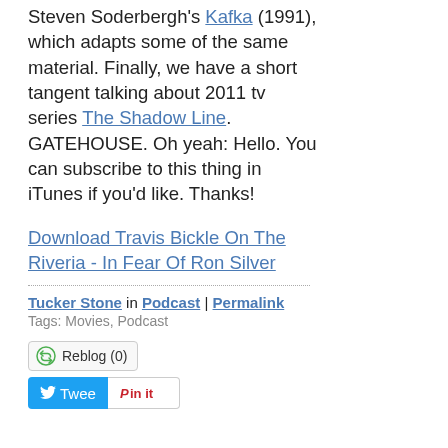Steven Soderbergh's Kafka (1991), which adapts some of the same material. Finally, we have a short tangent talking about 2011 tv series The Shadow Line. GATEHOUSE. Oh yeah: Hello. You can subscribe to this thing in iTunes if you'd like. Thanks!
Download Travis Bickle On The Riveria - In Fear Of Ron Silver
Tucker Stone in Podcast | Permalink
Tags: Movies, Podcast